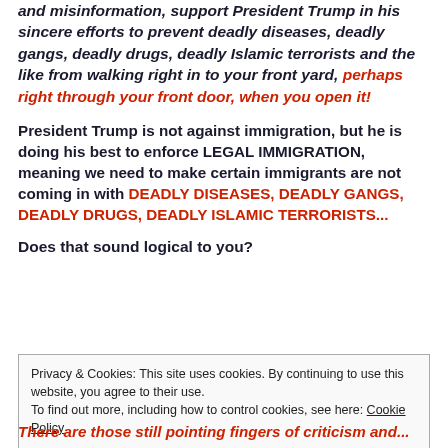and misinformation, support President Trump in his sincere efforts to prevent deadly diseases, deadly gangs, deadly drugs, deadly Islamic terrorists and the like from walking right in to your front yard, perhaps right through your front door, when you open it!
President Trump is not against immigration, but he is doing his best to enforce LEGAL IMMIGRATION, meaning we need to make certain immigrants are not coming in with DEADLY DISEASES, DEADLY GANGS, DEADLY DRUGS, DEADLY ISLAMIC TERRORISTS...
Does that sound logical to you?
Privacy & Cookies: This site uses cookies. By continuing to use this website, you agree to their use.
To find out more, including how to control cookies, see here: Cookie Policy
Close and accept
There are those still pointing fingers of criticism and...